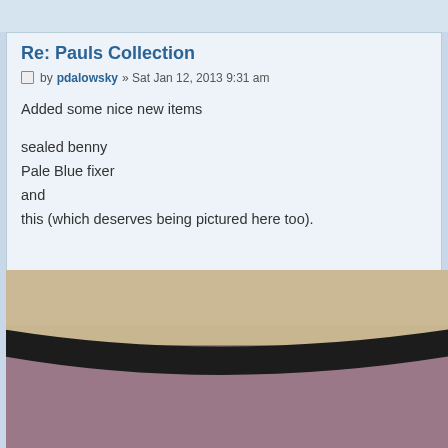Re: Pauls Collection
by pdalowsky » Sat Jan 12, 2013 9:31 am
Added some nice new items
sealed benny
Pale Blue fixer
and
this (which deserves being pictured here too).
[Figure (photo): Close-up photograph of what appears to be a rounded black-edged object (possibly a vinyl record or disc) with pale purplish/mauve surface visible below the black rim, against a beige/tan background.]